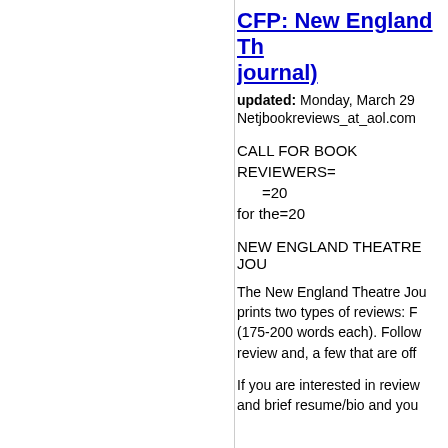CFP: New England Theatre journal)
updated: Monday, March 29
Netjbookreviews_at_aol.com
CALL FOR BOOK REVIEWERS=
=20
for the=20
NEW ENGLAND THEATRE JOUR
The New England Theatre Jou prints two types of reviews: F (175-200 words each). Follow review and, a few that are off
If you are interested in review and brief resume/bio and you